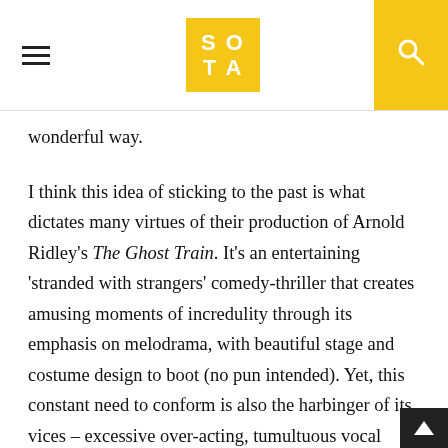SOTA
wonderful way.
I think this idea of sticking to the past is what dictates many virtues of their production of Arnold Ridley’s The Ghost Train. It’s an entertaining ‘stranded with strangers’ comedy-thriller that creates amusing moments of incredulity through its emphasis on melodrama, with beautiful stage and costume design to boot (no pun intended). Yet, this constant need to conform is also the harbinger of its vices – excessive over-acting, tumultuous vocal work and varying degrees of chemistry between the cast make this train journey a real bumpy ride.